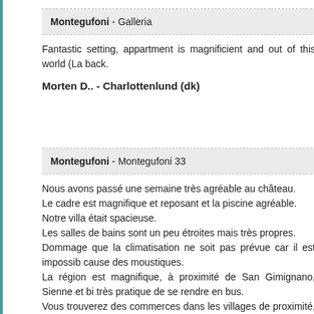Montegufoni - Galleria
Fantastic setting, appartment is magnificient and out of this world (La back.
Morten D.. - Charlottenlund (dk)
Montegufoni - Montegufoni 33
Nous avons passé une semaine très agréable au château.
Le cadre est magnifique et reposant et la piscine agréable.
Notre villa était spacieuse.
Les salles de bains sont un peu étroites mais très propres.
Dommage que la climatisation ne soit pas prévue car il est impossib cause des moustiques.
La région est magnifique, à proximité de San Gimignano, Sienne et bi très pratique de se rendre en bus.
Vous trouverez des commerces dans les villages de proximité, les